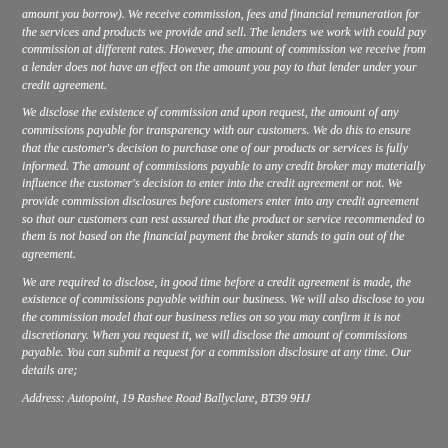amount you borrow). We receive commission, fees and financial remuneration for the services and products we provide and sell. The lenders we work with could pay commission at different rates. However, the amount of commission we receive from a lender does not have an effect on the amount you pay to that lender under your credit agreement.
We disclose the existence of commission and upon request, the amount of any commissions payable for transparency with our customers. We do this to ensure that the customer's decision to purchase one of our products or services is fully informed. The amount of commissions payable to any credit broker may materially influence the customer's decision to enter into the credit agreement or not. We provide commission disclosures before customers enter into any credit agreement so that our customers can rest assured that the product or service recommended to them is not based on the financial payment the broker stands to gain out of the agreement.
We are required to disclose, in good time before a credit agreement is made, the existence of commissions payable within our business. We will also disclose to you the commission model that our business relies on so you may confirm it is not discretionary. When you request it, we will disclose the amount of commissions payable. You can submit a request for a commission disclosure at any time. Our details are;
Address: Autopoint, 19 Rashee Road Ballyclare, BT39 9HJ